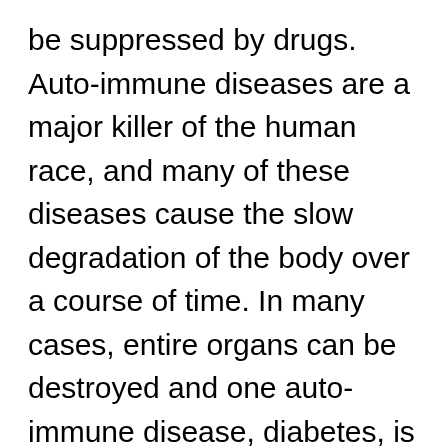be suppressed by drugs. Auto-immune diseases are a major killer of the human race, and many of these diseases cause the slow degradation of the body over a course of time. In many cases, entire organs can be destroyed and one auto-immune disease, diabetes, is one of the leading killers of human beings in the last and current centuries. Understanding the DNA mechanisms of the disease are crucial in correcting the